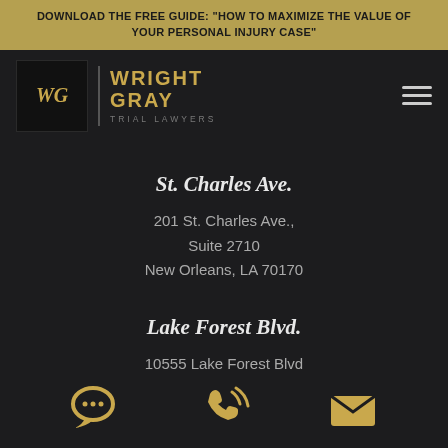DOWNLOAD THE FREE GUIDE: "HOW TO MAXIMIZE THE VALUE OF YOUR PERSONAL INJURY CASE"
[Figure (logo): Wright Gray Trial Lawyers logo with WG monogram in gold on black square, firm name in gold uppercase letters, and hamburger menu icon]
St. Charles Ave.
201 St. Charles Ave.,
Suite 2710
New Orleans, LA 70170
Lake Forest Blvd.
10555 Lake Forest Blvd
Suite 9C
[Figure (infographic): Three gold icons: chat/message bubble with dots, phone with sound waves, envelope/email]